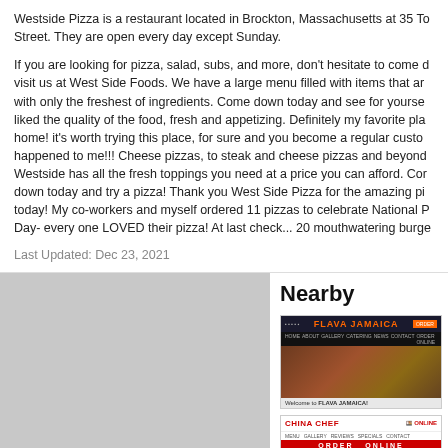Westside Pizza is a restaurant located in Brockton, Massachusetts at 35 To Street. They are open every day except Sunday.
If you are looking for pizza, salad, subs, and more, don't hesitate to come d visit us at West Side Foods. We have a large menu filled with items that ar with only the freshest of ingredients. Come down today and see for yourse liked the quality of the food, fresh and appetizing. Definitely my favorite pla home! it's worth trying this place, for sure and you become a regular custo happened to me!!! Cheese pizzas, to steak and cheese pizzas and beyond Westside has all the fresh toppings you need at a price you can afford. Cor down today and try a pizza! Thank you West Side Pizza for the amazing pi today! My co-workers and myself ordered 11 pizzas to celebrate National P Day- every one LOVED their pizza! At last check... 20 mouthwatering burge
Last Updated: Dec 23, 2021
[Figure (other): Gray map placeholder rectangle]
Nearby
[Figure (screenshot): Screenshot of Flava Jamaica restaurant website showing logo and food image]
[Figure (screenshot): Screenshot of China Chef restaurant website showing Order Online banner]